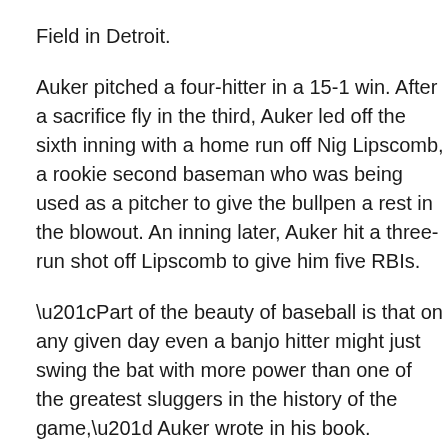Field in Detroit.
Auker pitched a four-hitter in a 15-1 win. After a sacrifice fly in the third, Auker led off the sixth inning with a home run off Nig Lipscomb, a rookie second baseman who was being used as a pitcher to give the bullpen a rest in the blowout. An inning later, Auker hit a three-run shot off Lipscomb to give him five RBIs.
“Part of the beauty of baseball is that on any given day even a banjo hitter might just swing the bat with more power than one of the greatest sluggers in the history of the game,” Auker wrote in his book.
Auker was not making another reference to Ruth. He was writing about teammate Hank Greenberg, who had hit 26 home runs that season going into the doubleheader. The